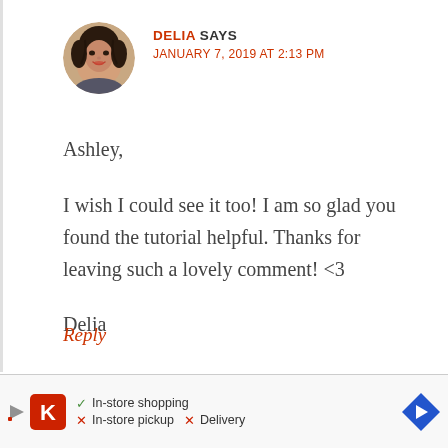[Figure (photo): Circular avatar photo of a woman with dark hair]
DELIA SAYS
JANUARY 7, 2019 AT 2:13 PM
Ashley,
I wish I could see it too! I am so glad you found the tutorial helpful. Thanks for leaving such a lovely comment! <3
Delia
Reply
[Figure (infographic): Advertisement banner: Kroger store ad showing In-store shopping (checkmark), In-store pickup (X), Delivery (X) with navigation arrow icon]